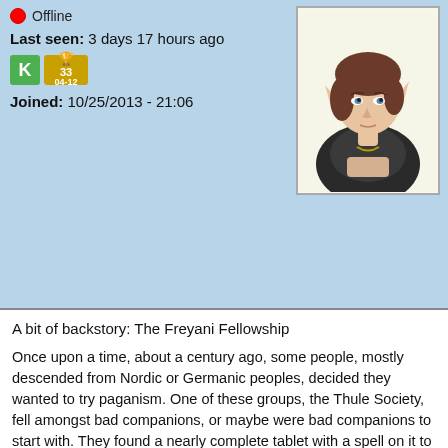Offline
Last seen: 3 days 17 hours ago
[Figure (illustration): Green K badge and gold trophy badge with number 33 and date 04-12]
Joined: 10/25/2013 - 21:06
[Figure (illustration): Anime-style elf character avatar with brown hair, pointy ears, wearing a dark jacket]
A bit of backstory: The Freyani Fellowship
Once upon a time, about a century ago, some people, mostly descended from Nordic or Germanic peoples, decided they wanted to try paganism. One of these groups, the Thule Society, fell amongst bad companions, or maybe were bad companions to start with. They found a nearly complete tablet with a spell on it to summon an avatar of a deity, and they decided to cast it...
Unfortunately, they didn't have the complete documentation on the spell, and they had mistranslated the name of the deity... and so they didn't realize that the spell was intended to be cast by a woman, shedding her